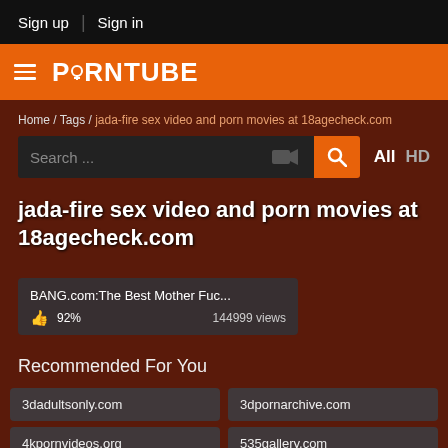Sign up | Sign in
PORNTUBE
Home / Tags / jada-fire sex video and porn movies at 18agecheck.com
Search ...
jada-fire sex video and porn movies at 18agecheck.com
BANG.com:The Best Mother Fuc... 92% 144999 views
Recommended For You
3dadultsonly.com
3dpornarchive.com
4kpornvideos.org
535gallery.com